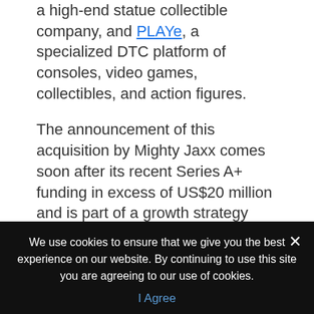a high-end statue collectible company, and PLAYe, a specialized DTC platform of consoles, video games, collectibles, and action figures.
The announcement of this acquisition by Mighty Jaxx comes soon after its recent Series A+ funding in excess of US$20 million and is part of a growth strategy aimed at extending the company's capabilities in and beyond the future of collectibles. Despite the current global business environment, Mighty Jaxx continues to field strong interest for its unique positioning and work in the phygital and meta world and has raised a total of over US$40
We use cookies to ensure that we give you the best experience on our website. By continuing to use this site you are agreeing to our use of cookies.
I Agree